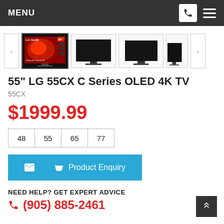MENU
[Figure (screenshot): Product image thumbnails for LG 55CX OLED TV showing 4 thumbnail images and partial 5th with left/right navigation arrows]
55" LG 55CX C Series OLED 4K TV
55CX
$1999.99
48
55
65
77
Product Enquiry
NEED HELP? GET EXPERT ADVICE
(905) 885-2461